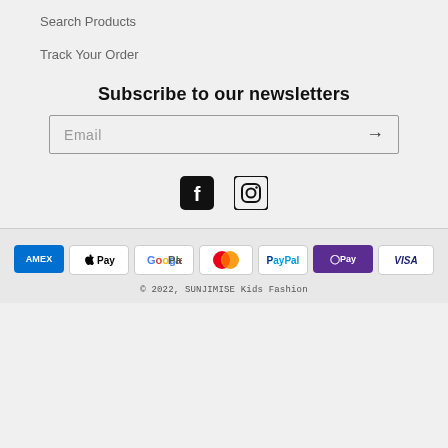Search Products
Track Your Order
Subscribe to our newsletters
[Figure (other): Email input field with arrow submit button]
[Figure (other): Social media icons: Facebook and Instagram]
[Figure (other): Payment method icons: American Express, Apple Pay, Google Pay, Mastercard, PayPal, Shop Pay, Visa]
© 2022, SUNJIMISE Kids Fashion